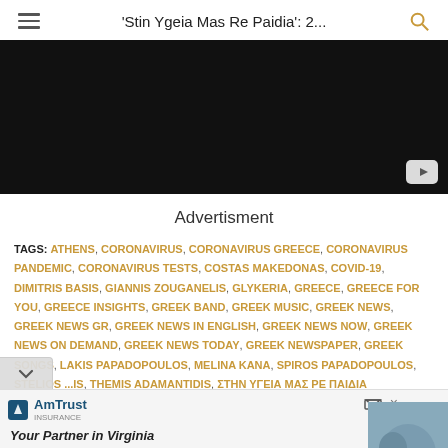'Stin Ygeia Mas Re Paidia': 2...
[Figure (screenshot): Dark video player thumbnail with YouTube play button in the bottom right corner]
Advertisment
TAGS: ATHENS, CORONAVIRUS, CORONAVIRUS GREECE, CORONAVIRUS PANDEMIC, CORONAVIRUS TESTS, COSTAS MAKEDONAS, COVID-19, DIMITRIS BASIS, GIANNIS ZOUGANELIS, GLYKERIA, GREECE, GREECE FOR YOU, GREECE INSIGHTS, GREEK BAND, GREEK MUSIC, GREEK NEWS, GREEK NEWS GR, GREEK NEWS IN ENGLISH, GREEK NEWS NOW, GREEK NEWS ON DEMAND, GREEK NEWS TODAY, GREEK NEWSPAPER, GREEK SONGS, LAKIS PAPADOPOULOS, MELINA KANA, SPIROS PAPADOPOULOS, STELIOS ...IS, THEMIS ADAMANTIDIS, ΣΤΗΝ ΥΓΕΙΑ ΜΑΣ ΡΕ ΠΑΙΔΙΑ
[Figure (screenshot): Advertisement banner for AmTrust Insurance with text 'Your Partner in Virginia']